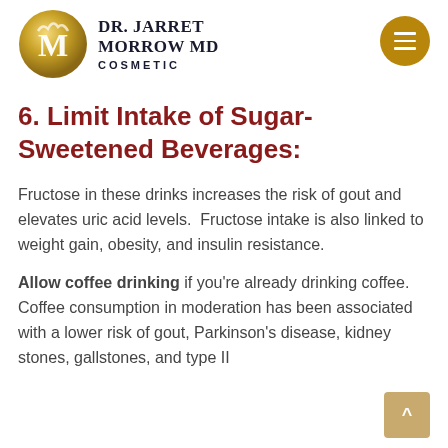Dr. Jarret Morrow MD Cosmetic
6. Limit Intake of Sugar-Sweetened Beverages:
Fructose in these drinks increases the risk of gout and elevates uric acid levels.  Fructose intake is also linked to weight gain, obesity, and insulin resistance.
Allow coffee drinking if you're already drinking coffee.  Coffee consumption in moderation has been associated with a lower risk of gout, Parkinson's disease, kidney stones, gallstones, and type II